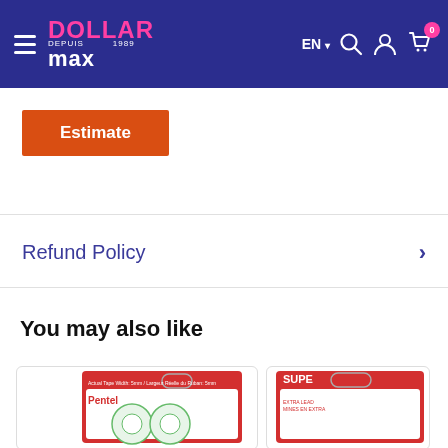Dollar Max — EN — Search — Account — Cart (0)
Estimate
Refund Policy
You may also like
[Figure (photo): Pentel correction tape product in red and green packaging]
[Figure (photo): Super Hi-Polymer product in red packaging, partially visible]